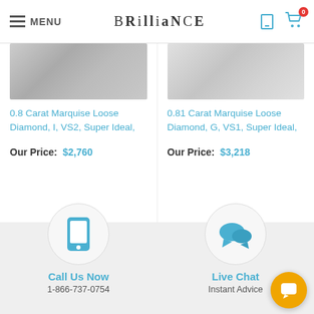MENU | BRILLIANCE
[Figure (photo): Diamond image - marquise cut, top-down view, gray/silver tones]
0.8 Carat Marquise Loose Diamond, I, VS2, Super Ideal,
Our Price: $2,760
0.81 Carat Marquise Loose Diamond, G, VS1, Super Ideal,
Our Price: $3,218
[Figure (illustration): Phone icon inside a circle - Call Us Now support icon]
Call Us Now
1-866-737-0754
[Figure (illustration): Chat bubbles icon inside a circle - Live Chat support icon]
Live Chat
Instant Advice